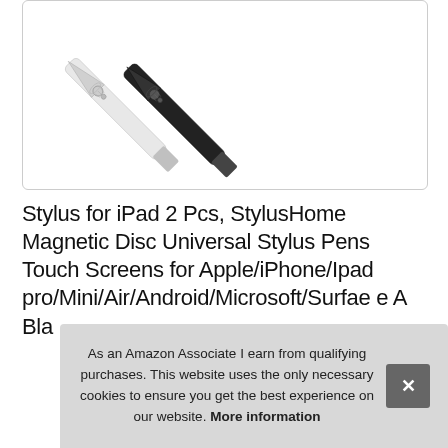[Figure (photo): Two stylus pens (one white, one black) with disc tips, angled diagonally, photographed on a white background inside a rounded-corner box]
Stylus for iPad 2 Pcs, StylusHome Magnetic Disc Universal Stylus Pens Touch Screens for Apple/iPhone/Ipad pro/Mini/Air/Android/Microsoft/Surface e A Bla
As an Amazon Associate I earn from qualifying purchases. This website uses the only necessary cookies to ensure you get the best experience on our website. More information